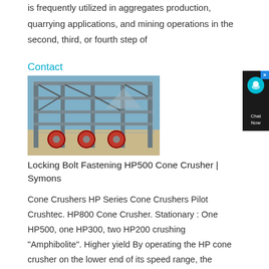is frequently utilized in aggregates production, quarrying applications, and mining operations in the second, third, or fourth step of
Contact
[Figure (photo): Industrial cone crusher facility with red flywheel components visible at base, large steel frame structure outdoors]
Locking Bolt Fastening HP500 Cone Crusher | Symons
Cone Crushers HP Series Cone Crushers Pilot Crushtec. HP800 Cone Crusher. Stationary : One HP500, one HP300, two HP200 crushing "Amphibolite". Higher yield By operating the HP cone crusher on the lower end of its speed range, the product gradation can be shifted to produce fewer